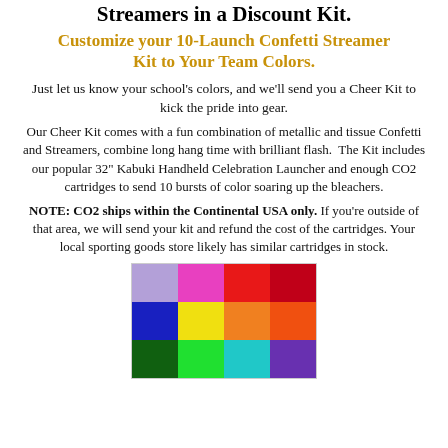Streamers in a Discount Kit.
Customize your 10-Launch Confetti Streamer Kit to Your Team Colors.
Just let us know your school's colors, and we'll send you a Cheer Kit to kick the pride into gear.
Our Cheer Kit comes with a fun combination of metallic and tissue Confetti and Streamers, combine long hang time with brilliant flash.  The Kit includes our popular 32" Kabuki Handheld Celebration Launcher and enough CO2 cartridges to send 10 bursts of color soaring up the bleachers.
NOTE: CO2 ships within the Continental USA only. If you're outside of that area, we will send your kit and refund the cost of the cartridges. Your local sporting goods store likely has similar cartridges in stock.
[Figure (illustration): A grid of 12 color swatches arranged in 3 rows and 4 columns, showing various colors: light purple, hot pink, red, crimson/dark red; blue, yellow, orange, bright orange; dark green, bright green, cyan/teal, purple.]